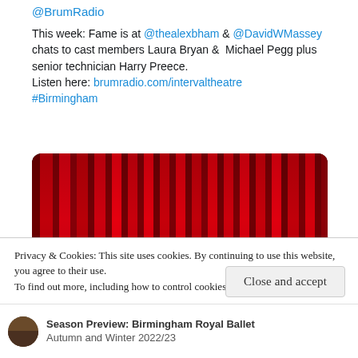@BrumRadio
This week: Fame is at @thealexbham & @DavidWMassey chats to cast members Laura Bryan &  Michael Pegg plus senior technician Harry Preece.
Listen here: brumradio.com/intervaltheatre
#Birmingham
[Figure (photo): Red theatre curtains with text overlay reading TUESDAYS 3PM (UK TIME) and WE KEEP in bottom corners]
Privacy & Cookies: This site uses cookies. By continuing to use this website, you agree to their use.
To find out more, including how to control cookies, see here: Cookie Policy
Close and accept
Season Preview: Birmingham Royal Ballet
Autumn and Winter 2022/23